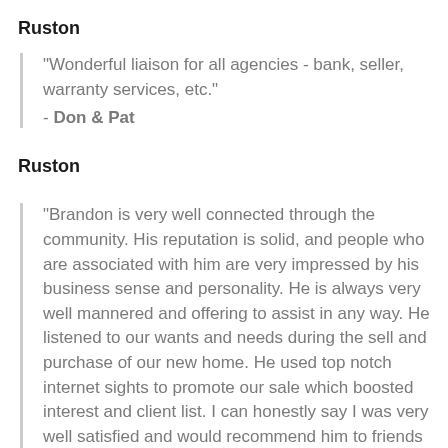Ruston
"Wonderful liaison for all agencies - bank, seller, warranty services, etc."
- Don & Pat
Ruston
"Brandon is very well connected through the community. His reputation is solid, and people who are associated with him are very impressed by his business sense and personality. He is always very well mannered and offering to assist in any way. He listened to our wants and needs during the sell and purchase of our new home. He used top notch internet sights to promote our sale which boosted interest and client list. I can honestly say I was very well satisfied and would recommend him to friends